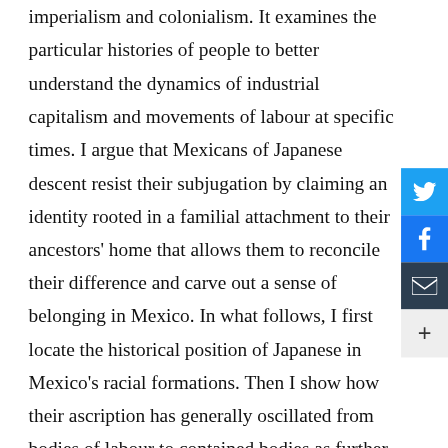imperialism and colonialism. It examines the particular histories of people to better understand the dynamics of industrial capitalism and movements of labour at specific times. I argue that Mexicans of Japanese descent resist their subjugation by claiming an identity rooted in a familial attachment to their ancestors' home that allows them to reconcile their difference and carve out a sense of belonging in Mexico. In what follows, I first locate the historical position of Japanese in Mexico's racial formations. Then I show how their ascription has generally oscillated from bodies of labour to contained bodies as further elaborated below. I conclude by presenting